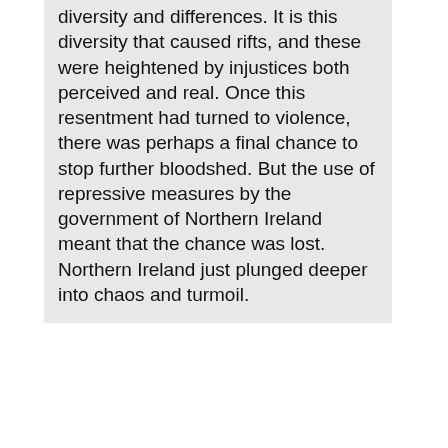diversity and differences. It is this diversity that caused rifts, and these were heightened by injustices both perceived and real. Once this resentment had turned to violence, there was perhaps a final chance to stop further bloodshed. But the use of repressive measures by the government of Northern Ireland meant that the chance was lost. Northern Ireland just plunged deeper into chaos and turmoil.
Page categories: « United Kingdom » | Northern Ireland
[Figure (other): Social sharing icons row: Twitter bird icon (blue), Facebook 'f' icon (dark blue), Delicious blue square icon, Digg icon, StumbleUpon icon (orange), Reddit alien icon, plus 'I like it!' and '3 C!s' links]